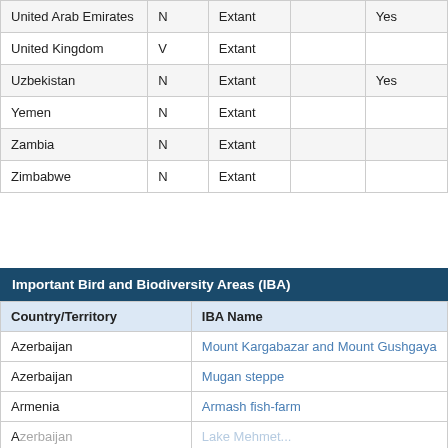| Country/Territory |  | Status |  |  |
| --- | --- | --- | --- | --- |
| United Arab Emirates | N | Extant |  | Yes |
| United Kingdom | V | Extant |  |  |
| Uzbekistan | N | Extant |  | Yes |
| Yemen | N | Extant |  |  |
| Zambia | N | Extant |  |  |
| Zimbabwe | N | Extant |  |  |
| Country/Territory | IBA Name |
| --- | --- |
| Azerbaijan | Mount Kargabazar and Mount Gushgaya |
| Azerbaijan | Mugan steppe |
| Armenia | Armash fish-farm |
| Azerbaijan | (truncated) |